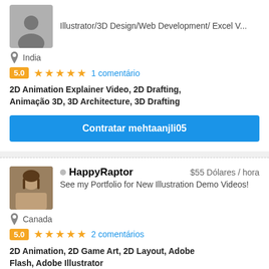Illustrator/3D Design/Web Development/ Excel V...
India
5.0 ★★★★★  1 comentário
2D Animation Explainer Video, 2D Drafting, Animação 3D, 3D Architecture, 3D Drafting
Contratar mehtaanjli05
HappyRaptor  $55 Dólares / hora
See my Portfolio for New Illustration Demo Videos!
Canada
5.0 ★★★★★  2 comentários
2D Animation, 2D Game Art, 2D Layout, Adobe Flash, Adobe Illustrator
Contratar HappyRaptor